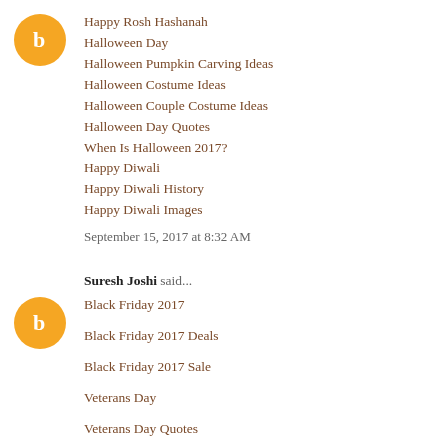[Figure (logo): Orange circular Blogger avatar icon with white 'b' letter]
Happy Rosh Hashanah
Halloween Day
Halloween Pumpkin Carving Ideas
Halloween Costume Ideas
Halloween Couple Costume Ideas
Halloween Day Quotes
When Is Halloween 2017?
Happy Diwali
Happy Diwali History
Happy Diwali Images
September 15, 2017 at 8:32 AM
Suresh Joshi said...
[Figure (logo): Orange circular Blogger avatar icon with white 'b' letter]
Black Friday 2017
Black Friday 2017 Deals
Black Friday 2017 Sale
Veterans Day
Veterans Day Quotes
When Is Veterans Day